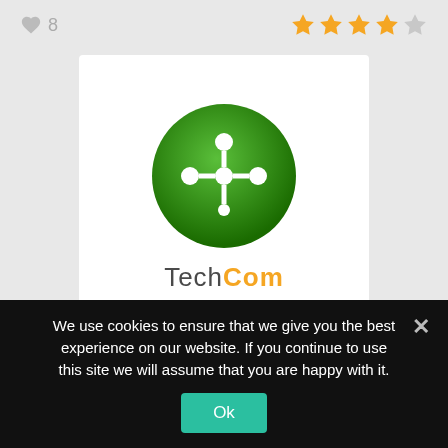♥ 8
[Figure (other): Star rating: 4 out of 5 stars (orange filled stars with one gray star)]
[Figure (logo): TechCom logo: green circle with white T-shaped node diagram above text 'TechCom' in dark green/gray]
♥ 7
[Figure (other): Star rating: approximately 4.5 out of 5 stars (orange filled stars with partial last star)]
We use cookies to ensure that we give you the best experience on our website. If you continue to use this site we will assume that you are happy with it.
Ok